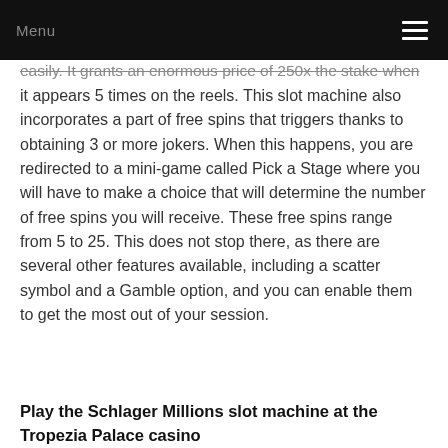Menu
easily. It grants an enormous price of 250x the stake when it appears 5 times on the reels. This slot machine also incorporates a part of free spins that triggers thanks to obtaining 3 or more jokers. When this happens, you are redirected to a mini-game called Pick a Stage where you will have to make a choice that will determine the number of free spins you will receive. These free spins range from 5 to 25. This does not stop there, as there are several other features available, including a scatter symbol and a Gamble option, and you can enable them to get the most out of your session.
Play the Schlager Millions slot machine at the Tropezia Palace casino